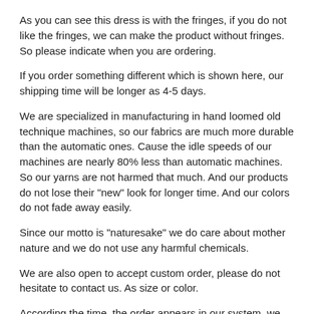As you can see this dress is with the fringes, if you do not like the fringes, we can make the product without fringes. So please indicate when you are ordering.
If you order something different which is shown here, our shipping time will be longer as 4-5 days.
We are specialized in manufacturing in hand loomed old technique machines, so our fabrics are much more durable than the automatic ones. Cause the idle speeds of our machines are nearly 80% less than automatic machines. So our yarns are not harmed that much. And our products do not lose their "new" look for longer time. And our colors do not fade away easily.
Since our motto is "naturesake" we do care about mother nature and we do not use any harmful chemicals.
We are also open to accept custom order, please do not hesitate to contact us. As size or color.
According the time, the order appears in our system, we ship the same day.
We do not ship at the weekends
Our free gift pack is available, please ask for it.